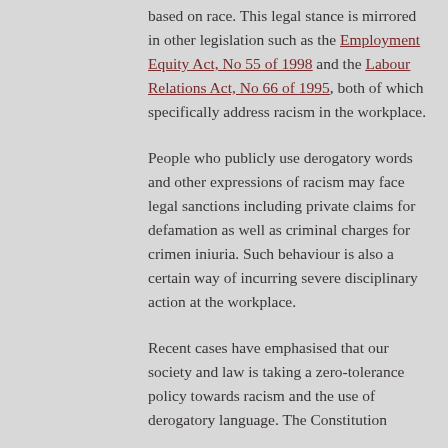based on race. This legal stance is mirrored in other legislation such as the Employment Equity Act, No 55 of 1998 and the Labour Relations Act, No 66 of 1995, both of which specifically address racism in the workplace.
People who publicly use derogatory words and other expressions of racism may face legal sanctions including private claims for defamation as well as criminal charges for crimen iniuria. Such behaviour is also a certain way of incurring severe disciplinary action at the workplace.
Recent cases have emphasised that our society and law is taking a zero-tolerance policy towards racism and the use of derogatory language. The Constitution...